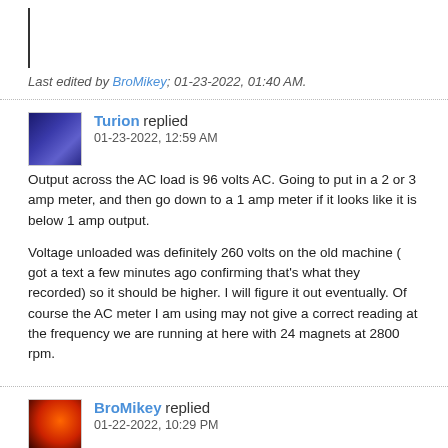Last edited by BroMikey; 01-23-2022, 01:40 AM.
Turion replied
01-23-2022, 12:59 AM
Output across the AC load is 96 volts AC. Going to put in a 2 or 3 amp meter, and then go down to a 1 amp meter if it looks like it is below 1 amp output.
Voltage unloaded was definitely 260 volts on the old machine ( got a text a few minutes ago confirming that's what they recorded) so it should be higher. I will figure it out eventually. Of course the AC meter I am using may not give a correct reading at the frequency we are running at here with 24 magnets at 2800 rpm.
BroMikey replied
01-22-2022, 10:29 PM